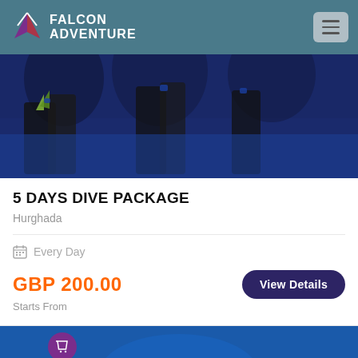FALCON ADVENTURE
[Figure (photo): Scuba divers underwater with blue background, close-up of diving equipment and wetsuits]
5 DAYS DIVE PACKAGE
Hurghada
Every Day
GBP 200.00
Starts From
[Figure (photo): Underwater scuba diving scene with fish and coral reef in blue water]